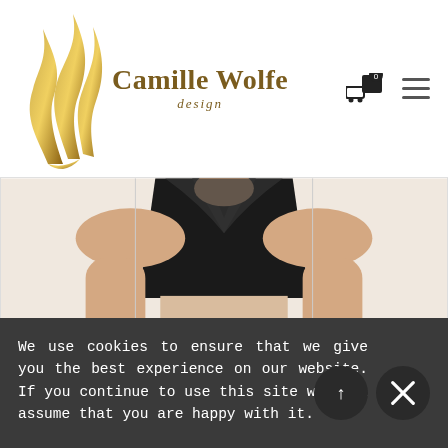[Figure (logo): Camille Wolfe Design logo with golden flame/feather SVG graphic and brand name in dark gold serif font]
[Figure (photo): Product photo of a black sequined/metallic crop top dancewear item (JV713), model shown from shoulders to waist with hands on hips]
JV713
$35.00
We use cookies to ensure that we give you the best experience on our website. If you continue to use this site we will assume that you are happy with it.